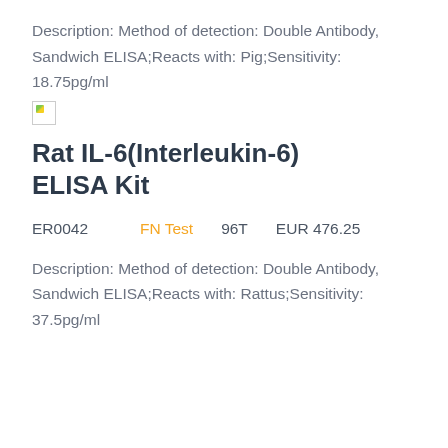Description: Method of detection: Double Antibody, Sandwich ELISA;Reacts with: Pig;Sensitivity: 18.75pg/ml
[Figure (other): Broken image placeholder icon]
Rat IL-6(Interleukin-6) ELISA Kit
ER0042    FN Test    96T    EUR 476.25
Description: Method of detection: Double Antibody, Sandwich ELISA;Reacts with: Rattus;Sensitivity: 37.5pg/ml